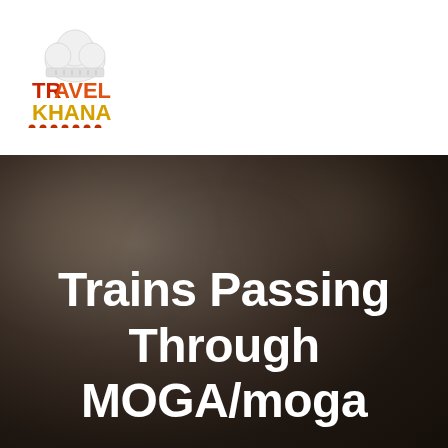[Figure (logo): TravelKhana logo with chef hat icon, red and orange 'TRAVEL' text, gold 'KHANA' text, and decorative dots below]
[Figure (photo): Dark blurry bokeh background photograph, likely a train or railway platform scene, very dark brown and black tones with soft light spots]
Trains Passing Through MOGA/moga